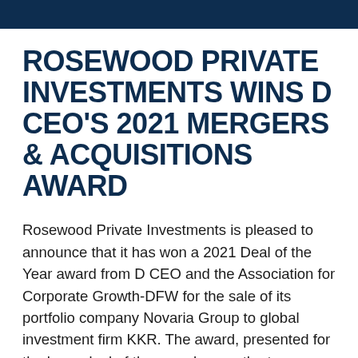ROSEWOOD PRIVATE INVESTMENTS WINS D CEO'S 2021 MERGERS & ACQUISITIONS AWARD
Rosewood Private Investments is pleased to announce that it has won a 2021 Deal of the Year award from D CEO and the Association for Corporate Growth-DFW for the sale of its portfolio company Novaria Group to global investment firm KKR. The award, presented for the large deal of the year, honors the top mergers [...]